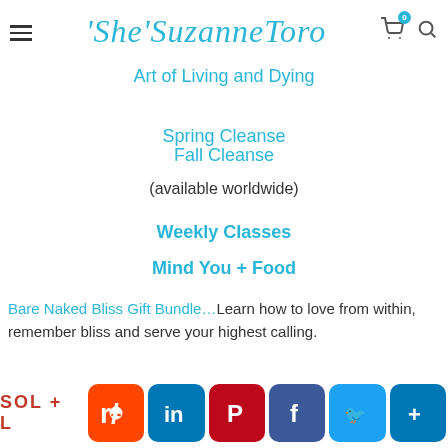'She'SuzanneToro
Art of Living and Dying
Spring Cleanse
Fall Cleanse
(available worldwide)
Weekly Classes
Mind You + Food
Bare Naked Bliss Gift Bundle…Learn how to love from within, remember bliss and serve your highest calling.
SOL + L... A... Social share buttons: Reddit, LinkedIn, Pinterest, Facebook, Twitter, Share